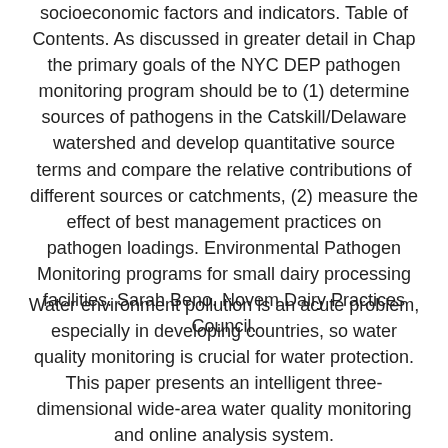socioeconomic factors and indicators. Table of Contents. As discussed in greater detail in Chap the primary goals of the NYC DEP pathogen monitoring program should be to (1) determine sources of pathogens in the Catskill/Delaware watershed and develop quantitative source terms and compare the relative contributions of different sources or catchments, (2) measure the effect of best management practices on pathogen loadings. Environmental Pathogen Monitoring programs for small dairy processing facilities. Sarah Beno. Novem Dairy Practices Council.
Water environment pollution is an acute problem, especially in developing countries, so water quality monitoring is crucial for water protection. This paper presents an intelligent three-dimensional wide-area water quality monitoring and online analysis system.